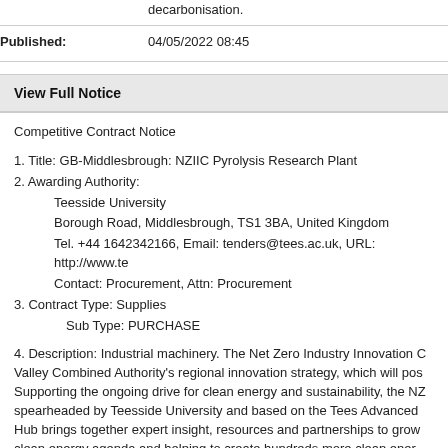decarbonisation.
Published: 04/05/2022 08:45
View Full Notice
Competitive Contract Notice
1. Title: GB-Middlesbrough: NZIIC Pyrolysis Research Plant
2. Awarding Authority:
Teesside University
Borough Road, Middlesbrough, TS1 3BA, United Kingdom
Tel. +44 1642342166, Email: tenders@tees.ac.uk, URL: http://www.t
Contact: Procurement, Attn: Procurement
3. Contract Type: Supplies
Sub Type: PURCHASE
4. Description: Industrial machinery. The Net Zero Industry Innovation C Valley Combined Authority's regional innovation strategy, which will pos Supporting the ongoing drive for clean energy and sustainability, the NZ spearheaded by Teesside University and based on the Tees Advanced Hub brings together expert insight, resources and partnerships to grow clean energy agenda and helping to create hundreds more clean ener